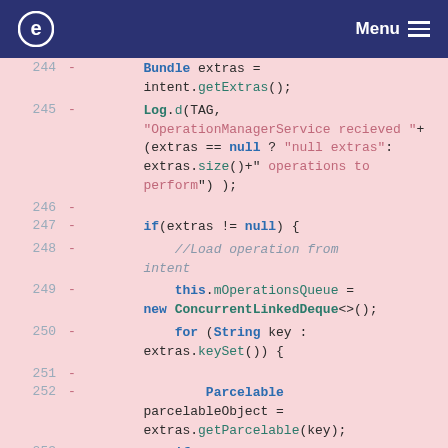e  Menu
[Figure (screenshot): Code diff view showing Java code lines 244-253 with line numbers and minus signs indicating removed lines, on a pink/red background.]